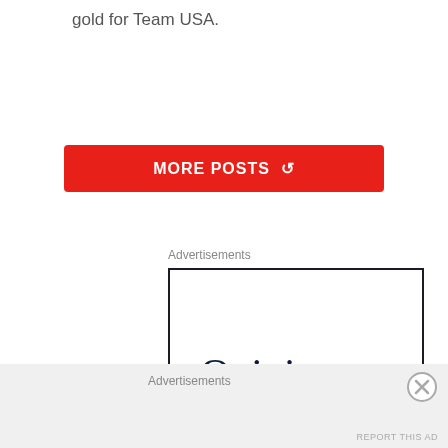gold for Team USA.
[Figure (other): Red button labeled MORE POSTS with refresh icon]
Advertisements
[Figure (other): Advertisement box with text 'Opinions. We all have them!' in dark navy serif font on white background with dark border]
Advertisements